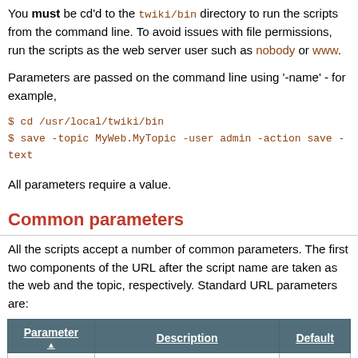You must be cd'd to the twiki/bin directory to run the scripts from the command line. To avoid issues with file permissions, run the scripts as the web server user such as nobody or www.
Parameters are passed on the command line using '-name' - for example,
$ cd /usr/local/twiki/bin
$ save -topic MyWeb.MyTopic -user admin -action save -text
All parameters require a value.
Common parameters
All the scripts accept a number of common parameters. The first two components of the URL after the script name are taken as the web and the topic, respectively. Standard URL parameters are:
| Parameter | Description | Default |
| --- | --- | --- |
| cover | Specifies temporary skin path to prepend to the skin path for this script only (see TWikiSkins) |  |